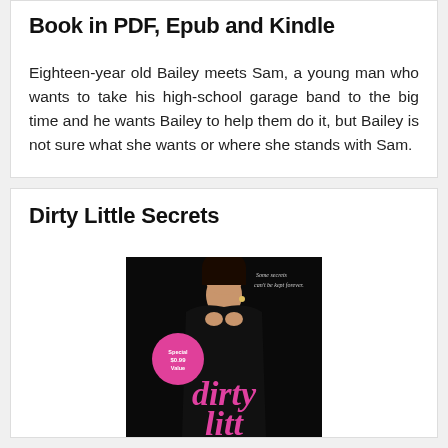Book in PDF, Epub and Kindle
Eighteen-year old Bailey meets Sam, a young man who wants to take his high-school garage band to the big time and he wants Bailey to help them do it, but Bailey is not sure what she wants or where she stands with Sam.
Dirty Little Secrets
[Figure (photo): Book cover of 'Dirty Little Secrets' showing a woman in a black dress with the title in pink text and a pink circular badge reading 'Special $0.99 Value']